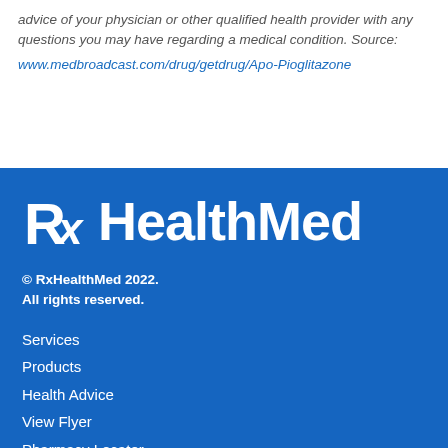advice of your physician or other qualified health provider with any questions you may have regarding a medical condition. Source:
www.medbroadcast.com/drug/getdrug/Apo-Pioglitazone
[Figure (logo): RxHealthMed logo in white on blue background, with stylized Rx symbol followed by HealthMed in bold sans-serif]
© RxHealthMed 2022.
All rights reserved.
Services
Products
Health Advice
View Flyer
Pharmacy Locator